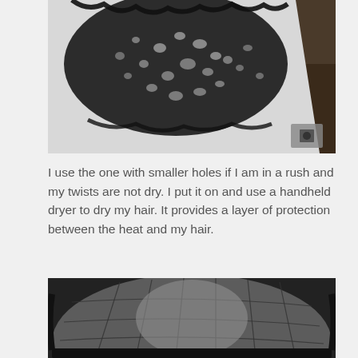[Figure (photo): Close-up black and white photo of a black crocheted hair net with intricate lace-like pattern and holes, laid flat on a white surface. A small square watermark/icon is visible in the bottom right corner.]
I use the one with smaller holes if I am in a rush and my twists are not dry. I put it on and use a handheld dryer to dry my hair. It provides a layer of protection between the heat and my hair.
[Figure (photo): Close-up black and white photo of a black mesh/net hair cap with a larger weave pattern, showing the interior structure of the cap.]